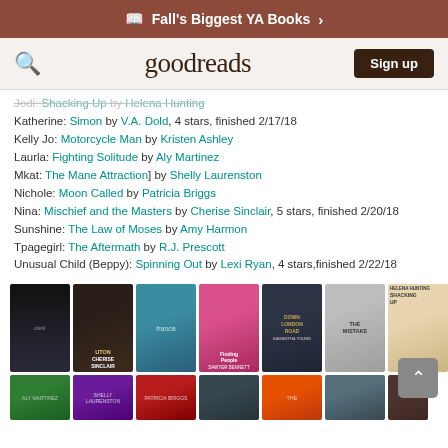Fall's Biggest YA Books
[Figure (screenshot): Goodreads navigation bar with search icon, goodreads logo, and Sign up button]
Jodi: Shacking Up by Helena Hunting
Katherine: Simon by V.A. Dold, 4 stars, finished 2/17/18
Kelly Jo: Motorcycle Man by Kristen Ashley
Laurla: Fighting Solitude by Aly Martinez
Mkat: The Mane Attraction] by Shelly Laurenston
Nichole: Moon Called by Patricia Briggs
Nina: Mischief and the Masters by Cherise Sinclair, 5 stars, finished 2/20/18
Sunshine: The Law of Moses by Amy Harmon
Tpagegirl: The Aftermath by R.J. Prescott
Unusual Child (Beppy): Spinning Out by Lexi Ryan, 4 stars,finished 2/22/18
[Figure (screenshot): Grid of book covers including: dark silhouette cover, Cherise Sinclair cover, blue romance cover, Finding People cover, Down London Road by Samantha Young, The Mistake cover, Shacking Up by Helena Hunting, and partial second row covers]